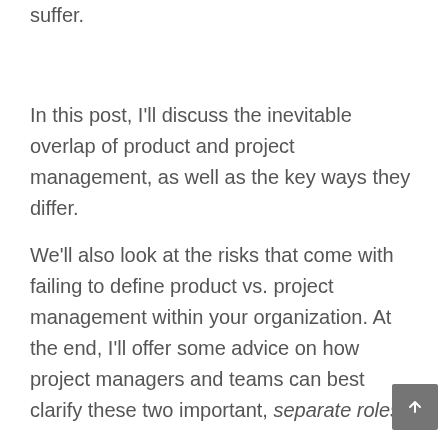and why — then the whole team can suffer.
In this post, I'll discuss the inevitable overlap of product and project management, as well as the key ways they differ.
We'll also look at the risks that come with failing to define product vs. project management within your organization. At the end, I'll offer some advice on how project managers and teams can best clarify these two important, separate roles.